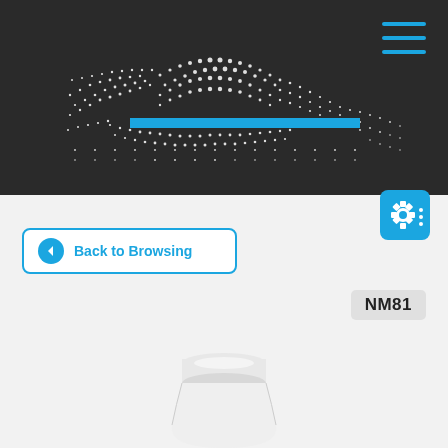[Figure (screenshot): Dark header banner with animated dot-wave/mesh graphic in white on dark background, with a blue horizontal bar near the top of the wave]
[Figure (other): Hamburger menu icon (three blue horizontal lines) in the top right corner]
[Figure (other): Blue gear/settings icon in the right side near the bottom of the dark banner]
[Figure (other): Back to Browsing button with blue circular left-arrow and blue text, outlined in blue, rounded rectangle]
NM81
[Figure (photo): White supplement/medicine bottle cap and top portion visible at the bottom of the page]